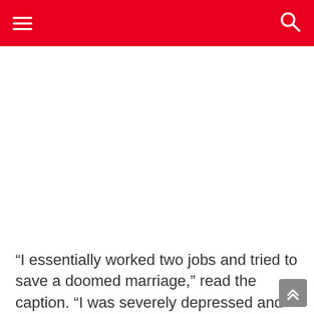[Figure (photo): Large image area (white/blank) below the red navigation header]
“I essentially worked two jobs and tried to save a doomed marriage,” read the caption. “I was severely depressed and drawing helped me get distracted